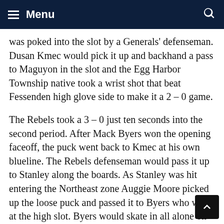Menu
was poked into the slot by a Generals' defenseman. Dusan Kmec would pick it up and backhand a pass to Maguyon in the slot and the Egg Harbor Township native took a wrist shot that beat Fessenden high glove side to make it a 2 – 0 game.
The Rebels took a 3 – 0 just ten seconds into the second period. After Mack Byers won the opening faceoff, the puck went back to Kmec at his own blueline. The Rebels defenseman would pass it up to Stanley along the boards. As Stanley was hit entering the Northeast zone Auggie Moore picked up the loose puck and passed it to Byers who was at the high slot. Byers would skate in all alone on Fessenden and beat him glove side for his second goal on the season.
Patrick's second goal of the game would give the Re a 4 – 0 lead at 2:23 into the middle stanza. Jimmy Gl